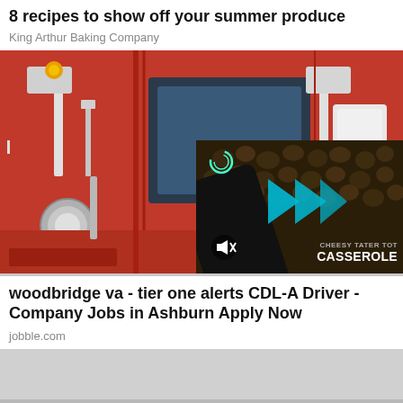8 recipes to show off your summer produce
King Arthur Baking Company
[Figure (photo): Red semi-truck cab with chrome details, partially overlaid by a video thumbnail showing a cheesy tater tot casserole dish with a play button icon and mute icon]
woodbridge va - tier one alerts CDL-A Driver - Company Jobs in Ashburn Apply Now
jobble.com